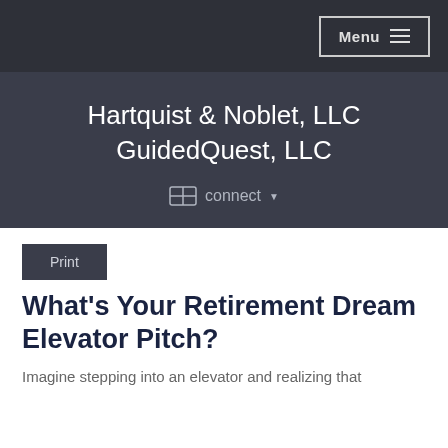Menu
Hartquist & Noblet, LLC GuidedQuest, LLC
connect
Print
What's Your Retirement Dream Elevator Pitch?
Imagine stepping into an elevator and realizing that